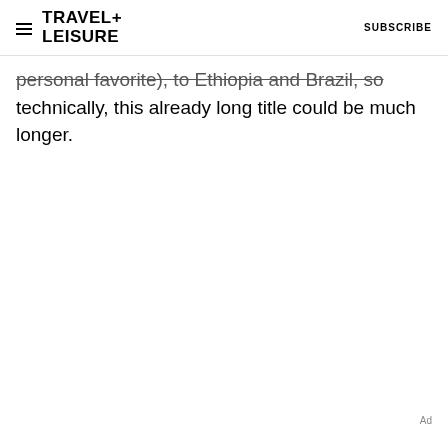TRAVEL+ LEISURE | SUBSCRIBE
personal favorite), to Ethiopia and Brazil, so technically, this already long title could be much longer.
Ad